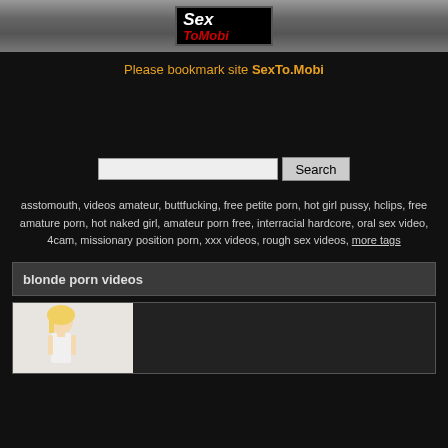SexToMobi logo
Please bookmark site SexTo.Mobi
[Figure (other): Search input field with Search button]
asstomouth, videos amateur, buttfucking, free petite porn, hot girl pussy, hclips, free amature porn, hot naked girl, amateur porn free, interracial hardcore, oral sex video, 4cam, missionary position porn, xxx videos, rough sex videos, more tags
blonde porn videos
[Figure (photo): Thumbnail of blonde woman]